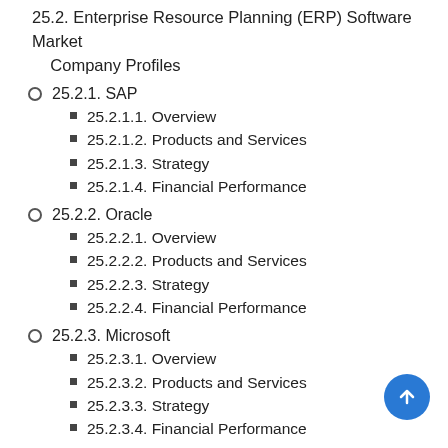25.2. Enterprise Resource Planning (ERP) Software Market Company Profiles
25.2.1. SAP
25.2.1.1. Overview
25.2.1.2. Products and Services
25.2.1.3. Strategy
25.2.1.4. Financial Performance
25.2.2. Oracle
25.2.2.1. Overview
25.2.2.2. Products and Services
25.2.2.3. Strategy
25.2.2.4. Financial Performance
25.2.3. Microsoft
25.2.3.1. Overview
25.2.3.2. Products and Services
25.2.3.3. Strategy
25.2.3.4. Financial Performance
25.2.4. Epicor
25.2.4.1. Overview
25.2.4.2. Products and Services